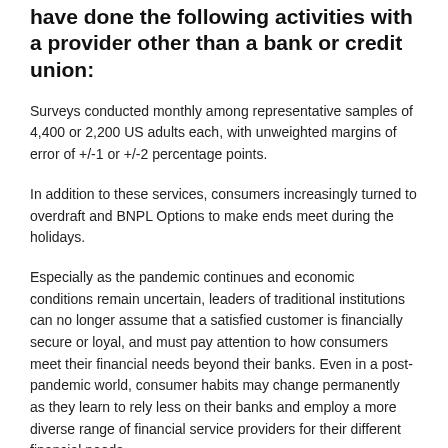have done the following activities with a provider other than a bank or credit union:
Surveys conducted monthly among representative samples of 4,400 or 2,200 US adults each, with unweighted margins of error of +/-1 or +/-2 percentage points.
In addition to these services, consumers increasingly turned to overdraft and BNPL Options to make ends meet during the holidays.
Especially as the pandemic continues and economic conditions remain uncertain, leaders of traditional institutions can no longer assume that a satisfied customer is financially secure or loyal, and must pay attention to how consumers meet their financial needs beyond their banks. Even in a post-pandemic world, consumer habits may change permanently as they learn to rely less on their banks and employ a more diverse range of financial service providers for their different financial needs.